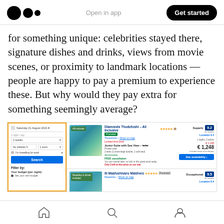Medium logo | Open in app | Get started
for something unique: celebrities stayed there, signature dishes and drinks, views from movie scenes, or proximity to landmark locations — people are happy to pay a premium to experience these. But why would they pay extra for something seemingly average?
[Figure (screenshot): Screenshot of Booking.com search interface showing hotel search form and results including Diamonds Thudufushi All Inclusive and Iti Maafushivaru Maldives hotels]
Home | Search | Profile navigation icons